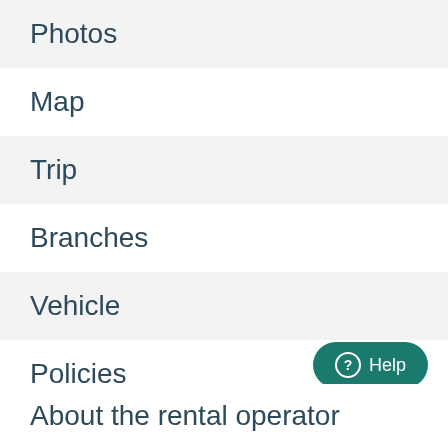Photos
Map
Trip
Branches
Vehicle
Policies
About the rental operator